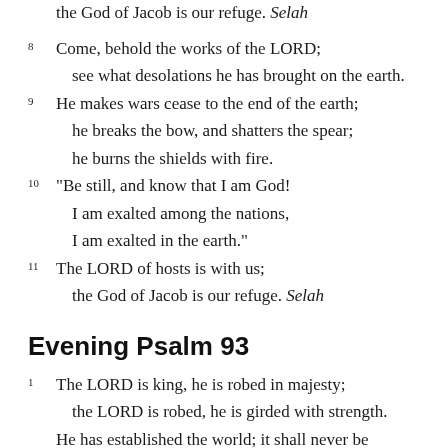the God of Jacob is our refuge. Selah
8  Come, behold the works of the LORD;
    see what desolations he has brought on the earth.
9  He makes wars cease to the end of the earth;
    he breaks the bow, and shatters the spear;
    he burns the shields with fire.
10  “Be still, and know that I am God!
    I am exalted among the nations,
    I am exalted in the earth.”
11  The LORD of hosts is with us;
    the God of Jacob is our refuge. Selah
Evening Psalm 93
1  The LORD is king, he is robed in majesty;
    the LORD is robed, he is girded with strength.
    He has established the world; it shall never be moved;